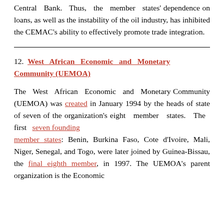Central Bank. Thus, the member states' dependence on loans, as well as the instability of the oil industry, has inhibited the CEMAC's ability to effectively promote trade integration.
12. West African Economic and Monetary Community (UEMOA)
The West African Economic and Monetary Community (UEMOA) was created in January 1994 by the heads of state of seven of the organization's eight member states. The first seven founding member states: Benin, Burkina Faso, Cote d'Ivoire, Mali, Niger, Senegal, and Togo, were later joined by Guinea-Bissau, the final eighth member, in 1997. The UEMOA's parent organization is the Economic